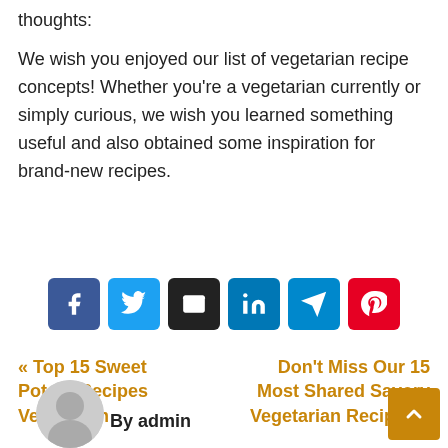thoughts:
We wish you enjoyed our list of vegetarian recipe concepts! Whether you're a vegetarian currently or simply curious, we wish you learned something useful and also obtained some inspiration for brand-new recipes.
[Figure (infographic): Row of six social share buttons: Facebook (blue), Twitter (light blue), Email (black), LinkedIn (blue), Telegram (teal), Pinterest (red)]
« Top 15 SweetDon't Miss Our 15 Potato Recipes Most Shared Savory Vegetarian         Vegetarian Recipes »
By admin